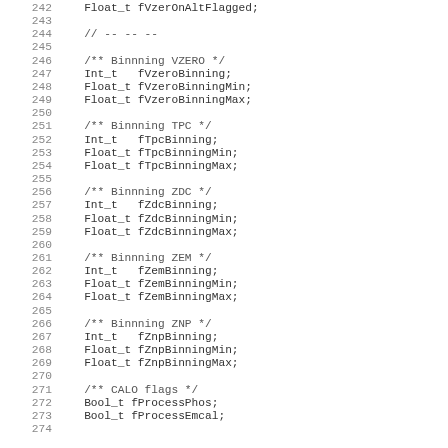Source code listing lines 242-274, showing C++ class member variable declarations for binning parameters (VZERO, TPC, ZDC, ZEM, ZNP) and CALO flags.